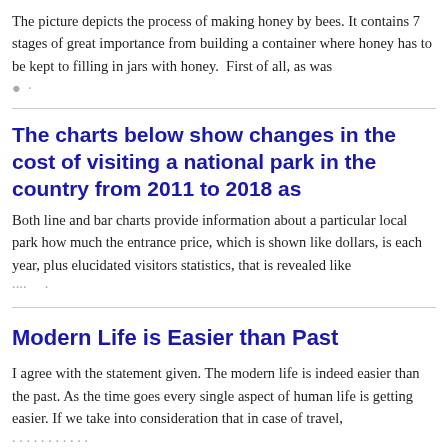The picture depicts the process of making honey by bees. It contains 7 stages of great importance from building a container where honey has to be kept to filling in jars with honey.  First of all, as was [faded/cut off text continues]
The charts below show changes in the cost of visiting a national park in the country from 2011 to 2018 as
Both line and bar charts provide information about a particular local park how much the entrance price, which is shown like dollars, is each year, plus elucidated visitors statistics, that is revealed like [faded/cut off text continues]
Modern Life is Easier than Past
I agree with the statement given. The modern life is indeed easier than the past. As the time goes every single aspect of human life is getting easier. If we take into consideration that in case of travel, [text continues below]